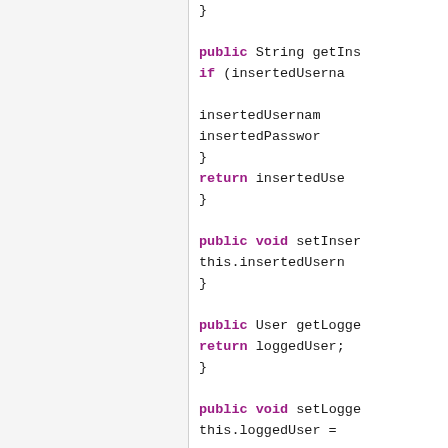Code snippet showing Java methods: closing brace, public String getIns..., if (insertedUserna..., insertedUsername..., insertedPassword..., }, return insertedUse..., }, public void setInser..., this.insertedUsern..., }, public User getLogge..., return loggedUser;, }, public void setLogge..., this.loggedUser =..., prefs.edit().putSt..., prefs.edit().putSt...